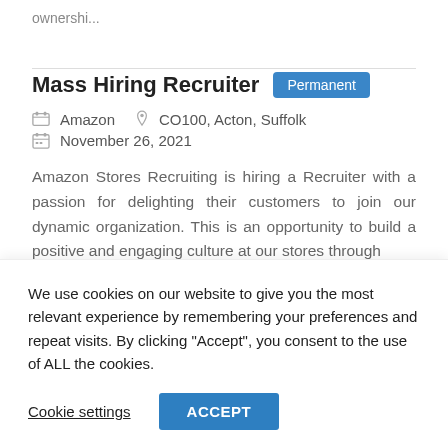ownershi...
Mass Hiring Recruiter
Amazon   CO100, Acton, Suffolk
November 26, 2021
Amazon Stores Recruiting is hiring a Recruiter with a passion for delighting their customers to join our dynamic organization. This is an opportunity to build a positive and engaging culture at our stores through
We use cookies on our website to give you the most relevant experience by remembering your preferences and repeat visits. By clicking “Accept”, you consent to the use of ALL the cookies.
Cookie settings
ACCEPT